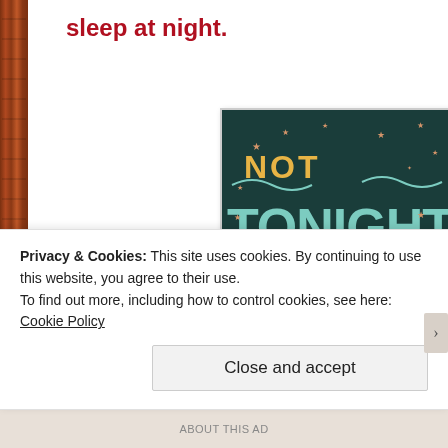sleep at night.
[Figure (photo): Book cover with dark teal background showing decorative lettering 'NOT TONIGHT I'M READING' with stars, books, and ornamental designs in teal, gold, and orange colors. 'READING FRENZY' label visible on books.]
Privacy & Cookies: This site uses cookies. By continuing to use this website, you agree to their use.
To find out more, including how to control cookies, see here: Cookie Policy
Close and accept